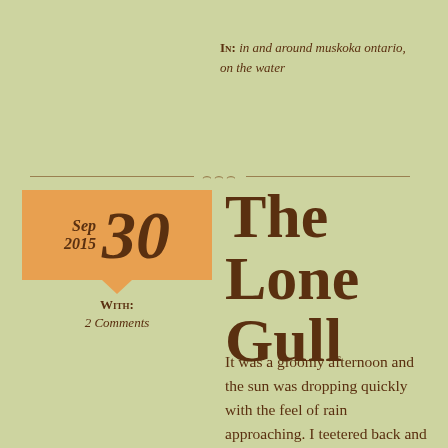In: in and around muskoka ontario, on the water
Sep 2015  30
With: 2 Comments
The Lone Gull
It was a gloomy afternoon and the sun was dropping quickly with the feel of rain approaching. I teetered back and forth on whether I should go out or not. I ended